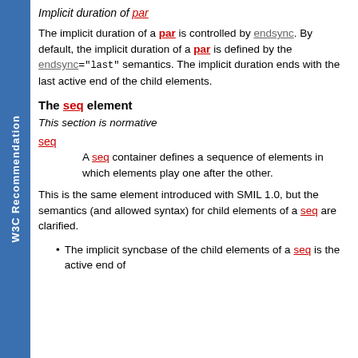W3C Recommendation
Implicit duration of par
The implicit duration of a par is controlled by endsync. By default, the implicit duration of a par is defined by the endsync="last" semantics. The implicit duration ends with the last active end of the child elements.
The seq element
This section is normative
seq
A seq container defines a sequence of elements in which elements play one after the other.
This is the same element introduced with SMIL 1.0, but the semantics (and allowed syntax) for child elements of a seq are clarified.
The implicit syncbase of the child elements of a seq is the active end of